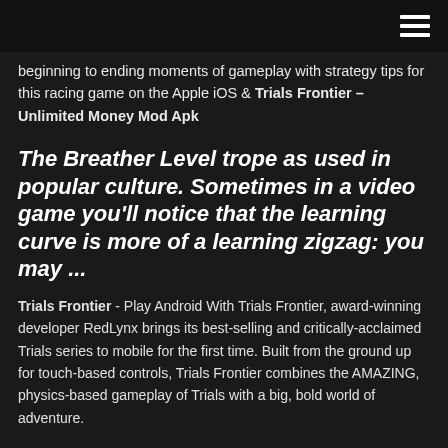[hamburger menu icon]
beginning to ending moments of gameplay with strategy tips for this racing game on the Apple iOS & Trials Frontier – Unlimited Money Mod Apk
The Breather Level trope as used in popular culture. Sometimes in a video game you'll notice that the learning curve is more of a learning zigzag: you may ...
Trials Frontier - Play Android With Trials Frontier, award-winning developer RedLynx brings its best-selling and critically-acclaimed Trials series to mobile for the first time. Built from the ground up for touch-based controls, Trials Frontier combines the AMAZING, physics-based gameplay of Trials with a big, bold world of adventure.